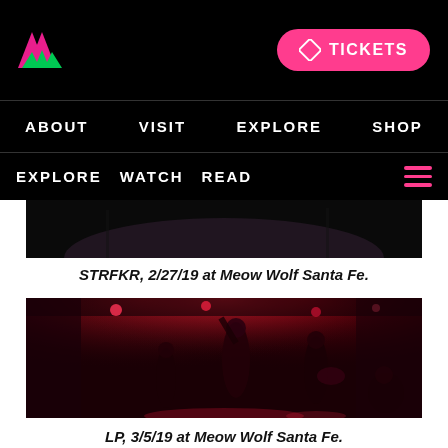[Figure (logo): Meow Wolf pink and green mountain/W logo on black background]
[Figure (other): Pink pill-shaped Tickets button with diamond icon]
ABOUT   VISIT   EXPLORE   SHOP
EXPLORE  WATCH  READ  [hamburger menu icon]
[Figure (photo): Dark concert photo strip at top]
STRFKR, 2/27/19 at Meow Wolf Santa Fe.
[Figure (photo): Concert photo of band performing under red lights at Meow Wolf Santa Fe, performer in patterned shirt with guitarist]
LP, 3/5/19 at Meow Wolf Santa Fe.